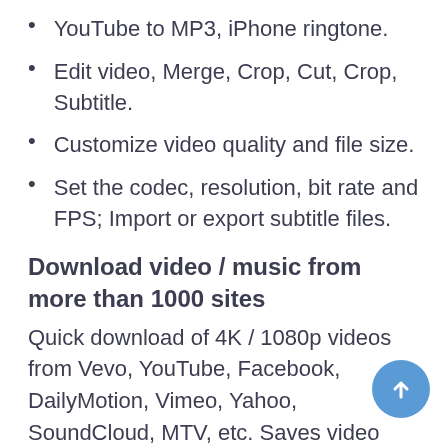YouTube to MP3, iPhone ringtone.
Edit video, Merge, Crop, Cut, Crop, Subtitle.
Customize video quality and file size.
Set the codec, resolution, bit rate and FPS; Import or export subtitle files.
Download video / music from more than 1000 sites
Quick download of 4K / 1080p videos from Vevo, YouTube, Facebook, DailyMotion, Vimeo, Yahoo, SoundCloud, MTV, etc. Saves video transmissions, live videos, playlists and channels.
Record video from the computer screen or webcam
Stabilize, Crop, Dull, oid...